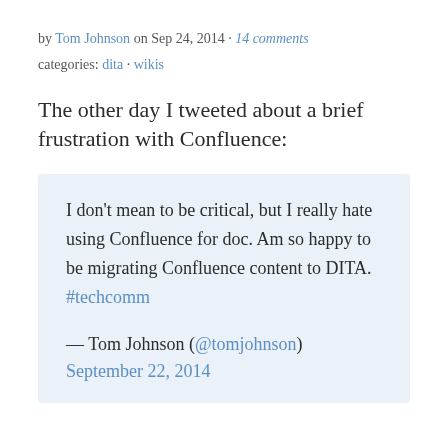by Tom Johnson on Sep 24, 2014 · 14 comments
categories: dita · wikis
The other day I tweeted about a brief frustration with Confluence:
I don't mean to be critical, but I really hate using Confluence for doc. Am so happy to be migrating Confluence content to DITA. #techcomm
— Tom Johnson (@tomjohnson) September 22, 2014